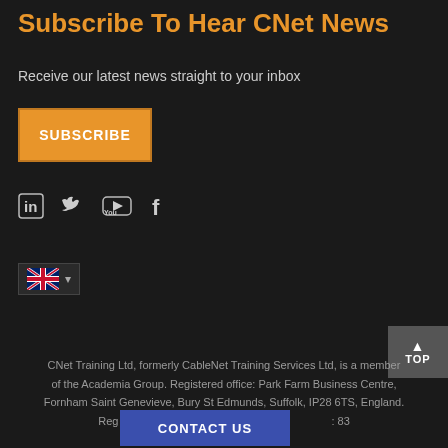Subscribe To Hear CNet News
Receive our latest news straight to your inbox
SUBSCRIBE
[Figure (infographic): Social media icons: LinkedIn (in), Twitter (bird), YouTube (play button), Facebook (f)]
[Figure (infographic): UK flag icon with dropdown arrow for language selection]
TOP
CONTACT US
CNet Training Ltd, formerly CableNet Training Services Ltd, is a member of the Academia Group. Registered office: Park Farm Business Centre, Fornham Saint Genevieve, Bury St Edmunds, Suffolk, IP28 6TS, England. Reg No. 3233910 England and Wales. VAT No. 83
© CNet Training 2022